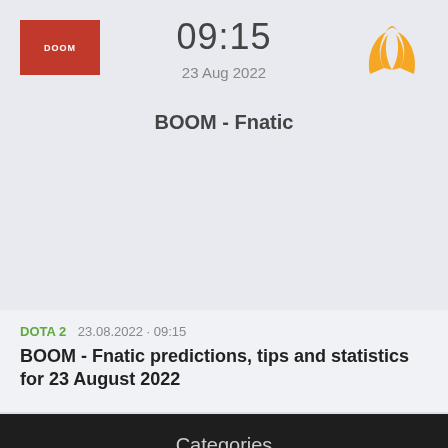[Figure (other): BOOM esports team logo - red background with DOOM text in white]
09:15
23 Aug 2022
[Figure (logo): Fnatic logo - orange flame/butterfly wing symbol]
BOOM - Fnatic
DOTA 2  23.08.2022 · 09:15
BOOM - Fnatic predictions, tips and statistics for 23 August 2022
Categories
News
Predictions
Matches